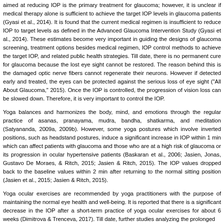aimed at reducing IOP is the primary treatment for glaucoma; however, it is unclear if medical therapy alone is sufficient to achieve the target IOP levels in glaucoma patients (Gyasi et al., 2014). It is found that the current medical regimen is insufficient to reduce IOP to target levels as defined in the Advanced Glaucoma Intervention Study (Gyasi et al., 2014). These estimates become very important in guiding the designs of glaucoma screening, treatment options besides medical regimen, IOP control methods to achieve the target IOP, and related public health strategies. Till date, there is no permanent cure for glaucoma because the lost eye sight cannot be restored. The reason behind this is the damaged optic nerve fibers cannot regenerate their neurons. However if detected early and treated, the eyes can be protected against the serious loss of eye sight ("All About Glaucoma," 2015). Once the IOP is controlled, the progression of vision loss can be slowed down. Therefore, it is very important to control the IOP.
Yoga balances and harmonizes the body, mind, and emotions through the regular practice of asanas, pranayama, mudra, bandha, shatkarma, and meditation (Satyananda, 2009a, 2009b). However, some yoga postures which involve inverted positions, such as headstand postures, induce a significant increase in IOP within 1 min which can affect patients with glaucoma and those who are at a high risk of glaucoma or its progression in ocular hypertensive patients (Baskaran et al., 2006; Jasien, Jonas, Gustavo De Moraes, & Ritch, 2015; Jasien & Ritch, 2015). The IOP values dropped back to the baseline values within 2 min after returning to the normal sitting position (Jasien et al., 2015; Jasien & Ritch, 2015).
Yoga ocular exercises are recommended by yoga practitioners with the purpose of maintaining the normal eye health and well-being. It is reported that there is a significant decrease in the IOP after a short-term practice of yoga ocular exercises for about 6 weeks (Dimitrova & Trenceva, 2017). Till date, further studies analyzing the prolonged